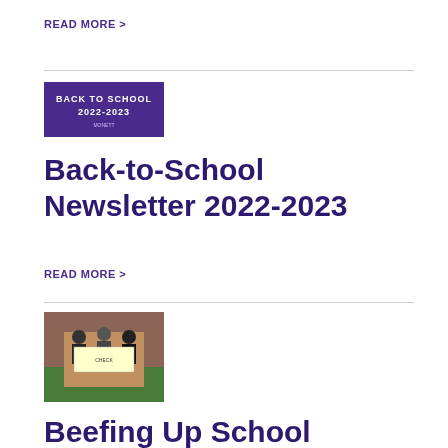READ MORE >
[Figure (illustration): Back to School 2022-2023 banner image with purple background]
Back-to-School Newsletter 2022-2023
READ MORE >
[Figure (photo): People standing in front of a brick wall holding a large check]
Beefing Up School Lunches at Monett
Monett Schools is thrilled to share an